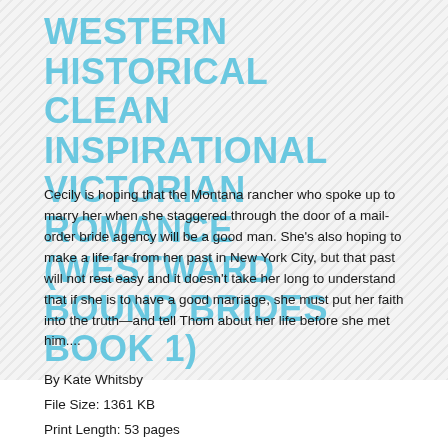WESTERN HISTORICAL CLEAN INSPIRATIONAL VICTORIAN ROMANCE (WESTWARD BOUND BRIDES BOOK 1)
Cecily is hoping that the Montana rancher who spoke up to marry her when she staggered through the door of a mail-order bride agency will be a good man. She's also hoping to make a life far from her past in New York City, but that past will not rest easy and it doesn't take her long to understand that if she is to have a good marriage, she must put her faith into the truth—and tell Thom about her life before she met him....
By Kate Whitsby
File Size: 1361 KB
Print Length: 53 pages
Simultaneous Device Usage: Unlimited
Publisher: Mail Order Bride Dept - Gold Crown Press (November 8, 2016)